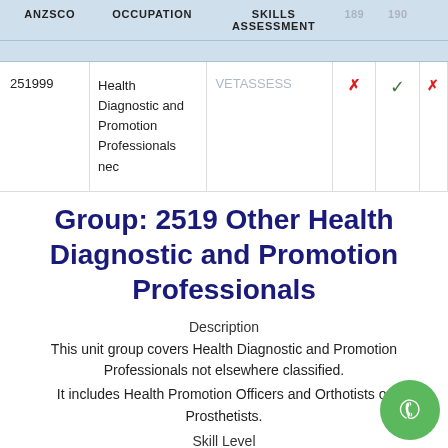| ANZSCO | OCCUPATION | SKILLS ASSESSMENT | 189 | 190 |  |
| --- | --- | --- | --- | --- | --- |
| 251999 | Health Diagnostic and Promotion Professionals nec | VETASSESS | ✗ | ✓ | ✗ |
Group: 2519 Other Health Diagnostic and Promotion Professionals
Description
This unit group covers Health Diagnostic and Promotion Professionals not elsewhere classified.
It includes Health Promotion Officers and Orthotists or Prosthetists.
Skill Level
Most occupations in this unit group have a level of skill